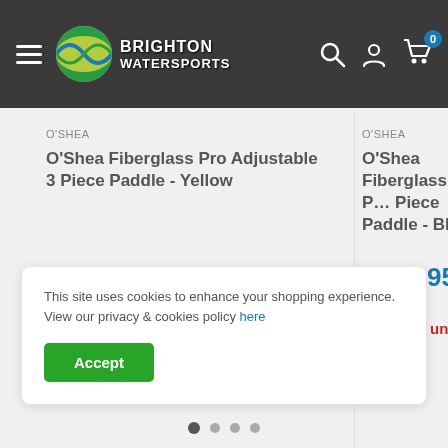Brighton Watersports
O'SHEA
O'Shea Fiberglass Pro Adjustable 3 Piece Paddle - Yellow
£139.95
Only 2 units left
O'SHEA
O'Shea Fiberglass Pro Adjustable 3 Piece Paddle - Blue
£139.95
Only 3 units left
This site uses cookies to enhance your shopping experience. View our privacy & cookies policy here
Accept